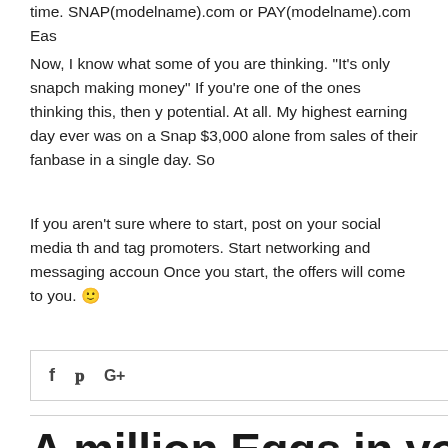time. SNAP(modelname).com or PAY(modelname).com Eas
Now, I know what some of you are thinking. "It's only snapch making money" If you're one of the ones thinking this, then y potential. At all. My highest earning day ever was on a Snap $3,000 alone from sales of their fanbase in a single day. So
If you aren't sure where to start, post on your social media th and tag promoters. Start networking and messaging accoun Once you start, the offers will come to you. 🙂
[Figure (other): Social media sharing bar with Facebook (f), Twitter (bird icon), and Google+ (G+) icons]
A million Eggs in your Bask